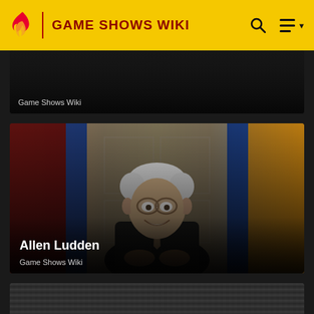GAME SHOWS WIKI
[Figure (screenshot): Partial thumbnail card with black background and 'Game Shows Wiki' label]
[Figure (photo): Photo of Allen Ludden, an older man with white hair and glasses wearing a dark suit and patterned tie, smiling, with colorful curtains (red, blue, yellow) in the background]
Allen Ludden
Game Shows Wiki
[Figure (photo): Partial thumbnail card showing a dark grayscale woven/textured background]